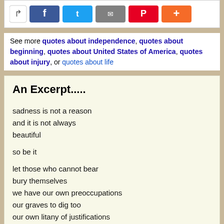[Figure (screenshot): Social media share icons: share arrow, Facebook, Twitter, Google+, Pinterest, and a plus button]
See more quotes about independence, quotes about beginning, quotes about United States of America, quotes about injury, or quotes about life
An Excerpt.....
sadness is not a reason
and it is not always
beautiful

so be it

let those who cannot bear
bury themselves
we have our own preoccupations
our graves to dig too
our own litany of justifications
after